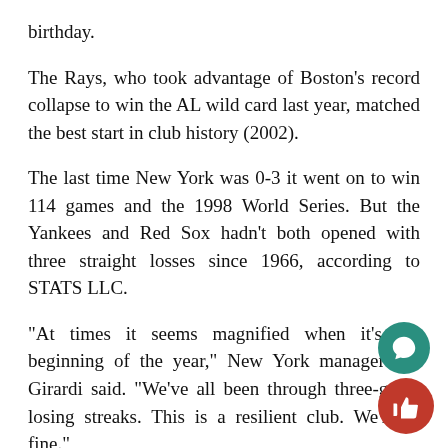birthday.
The Rays, who took advantage of Boston's record collapse to win the AL wild card last year, matched the best start in club history (2002).
The last time New York was 0-3 it went on to win 114 games and the 1998 World Series. But the Yankees and Red Sox hadn't both opened with three straight losses since 1966, according to STATS LLC.
“At times it seems magnified when it’s the beginning of the year,” New York manager Joe Girardi said. “We’ve all been through three-game losing streaks. This is a resilient club. We’ll be fine.”
Atlanta’s meltdown last year mirrored that of the Red Sox. The Braves had a 10½-game lead over St. Louis for the NL wild card in late August but went 9-...